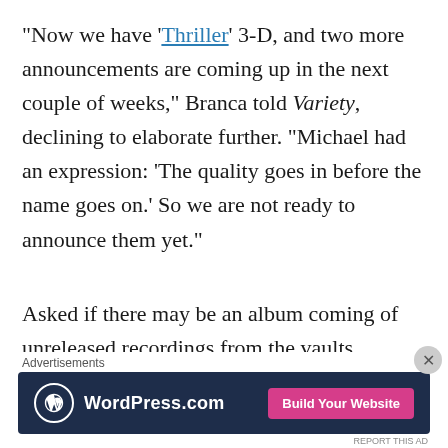“Now we have ‘Thriller’ 3-D, and two more announcements are coming up in the next couple of weeks,” Branca told Variety, declining to elaborate further. “Michael had an expression: ‘The quality goes in before the name goes on.’ So we are not ready to announce them yet.”
Asked if there may be an album coming of unreleased recordings from the vaults, Branca said: “I don’t foresee us releasing any more unreleased music for quite some time.” But he added: “That doesn’t mean there wouldn’t be an artistic […]
Advertisements
[Figure (other): WordPress.com advertisement banner with dark navy background, WordPress logo on the left, and a pink 'Build Your Website' button on the right.]